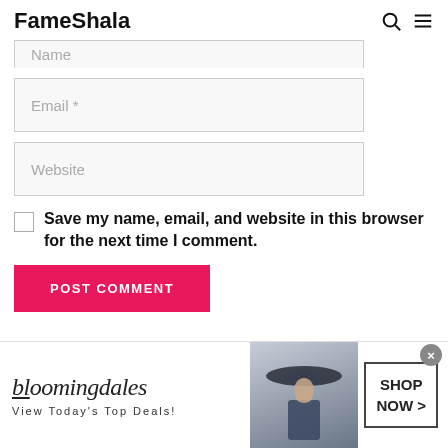FameShala
[Figure (screenshot): Web form with Name (partially visible), Email *, and Website input fields]
Save my name, email, and website in this browser for the next time I comment.
POST COMMENT
[Figure (infographic): Bloomingdale's advertisement banner: 'View Today's Top Deals! SHOP NOW >']